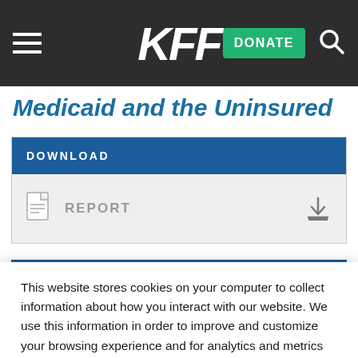KFF
Medicaid and the Uninsured
DOWNLOAD
REPORT
This website stores cookies on your computer to collect information about how you interact with our website. We use this information in order to improve and customize your browsing experience and for analytics and metrics about our visitors both on this website and other media. To find out more about the cookies we use, see our Privacy Policy.
Accept